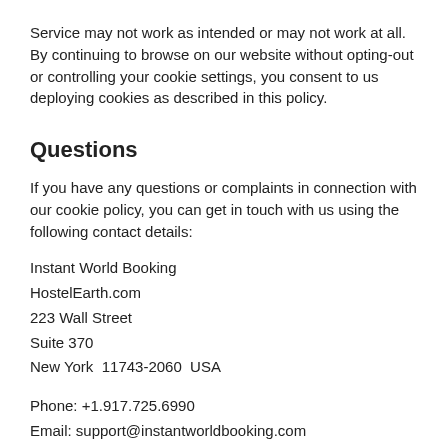Service may not work as intended or may not work at all. By continuing to browse on our website without opting-out or controlling your cookie settings, you consent to us deploying cookies as described in this policy.
Questions
If you have any questions or complaints in connection with our cookie policy, you can get in touch with us using the following contact details:
Instant World Booking
HostelEarth.com
223 Wall Street
Suite 370
New York  11743-2060  USA
Phone: +1.917.725.6990
Email: support@instantworldbooking.com